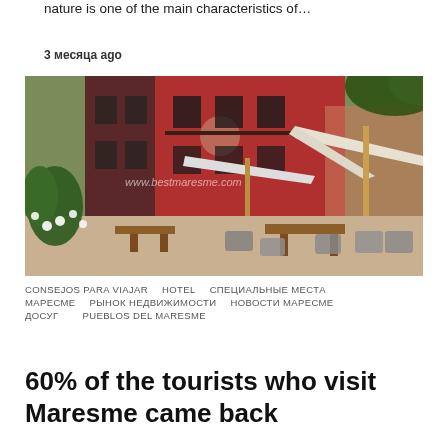nature is one of the main characteristics of…
3 месяца ago
[Figure (photo): Outdoor terrace of a red building with chairs, tables, umbrellas, and green plants. Watermark: www.bestmaresme.com]
CONSEJOS PARA VIAJAR  HOTEL  СПЕЦИАЛЬНЫЕ МЕСТА  МАРЕСМЕ  РЫНОК НЕДВИЖИМОСТИ  НОВОСТИ МАРЕСМЕ  ДОСУГ  PUEBLOS DEL MARESME
60% of the tourists who visit Maresme came back